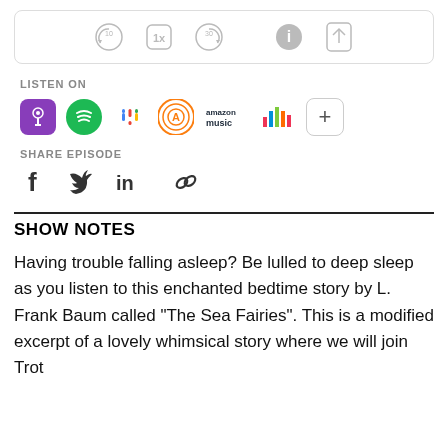[Figure (screenshot): Podcast player controls bar with rewind 10s, 1x speed, forward 30s, info, and share icons]
LISTEN ON
[Figure (infographic): Podcast platform icons: Apple Podcasts, Spotify, Google Podcasts, Overcast, Amazon Music, Deezer, and a plus button]
SHARE EPISODE
[Figure (infographic): Social share icons: Facebook f, Twitter bird, LinkedIn in, and a link/chain icon]
SHOW NOTES
Having trouble falling asleep?  Be lulled to deep sleep as you listen to this enchanted bedtime story by L. Frank Baum called "The Sea Fairies". This is a modified excerpt of a lovely whimsical story where we will join Trot